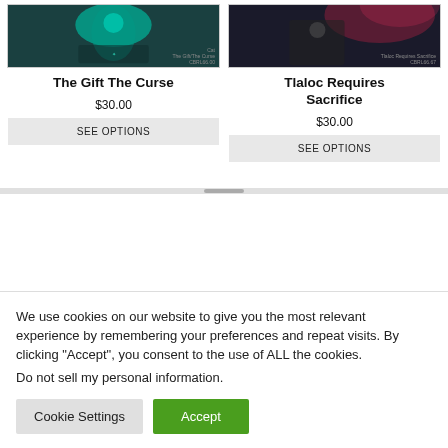[Figure (photo): Book/print cover with teal/green octopus or creature illustration on dark background]
Cat
The Gift/The Curse
CBRL66.00
[Figure (photo): Dark atmospheric book/print cover with figure and pinkish-red light]
Tlaloc Requires Sacrifice
CBRL66.67
The Gift The Curse
$30.00
SEE OPTIONS
Tlaloc Requires Sacrifice
$30.00
SEE OPTIONS
We use cookies on our website to give you the most relevant experience by remembering your preferences and repeat visits. By clicking “Accept”, you consent to the use of ALL the cookies.
Do not sell my personal information.
Cookie Settings
Accept